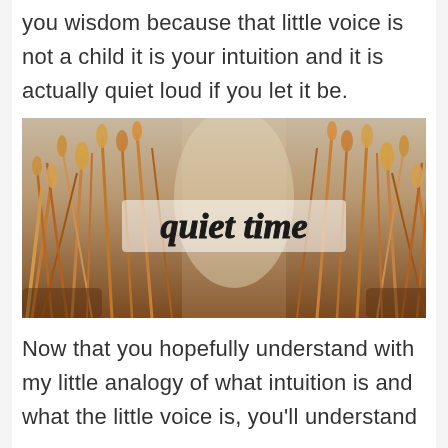you wisdom because that little voice is not a child it is your intuition and it is actually quiet loud if you let it be.
[Figure (photo): A close-up photo of golden wheat/grass stalks with a path through them, overlaid with handwritten-style text reading 'quiet time' in white with a dark outline.]
Now that you hopefully understand with my little analogy of what intuition is and what the little voice is, you'll understand